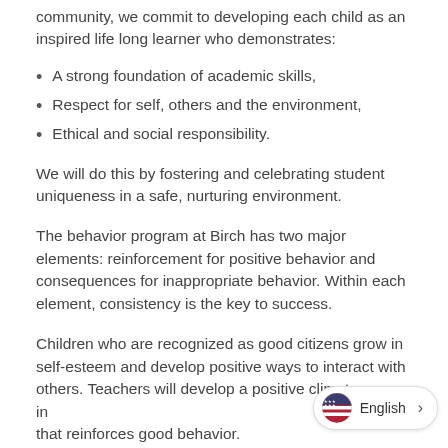community, we commit to developing each child as an inspired life long learner who demonstrates:
A strong foundation of academic skills,
Respect for self, others and the environment,
Ethical and social responsibility.
We will do this by fostering and celebrating student uniqueness in a safe, nurturing environment.
The behavior program at Birch has two major elements: reinforcement for positive behavior and consequences for inappropriate behavior. Within each element, consistency is the key to success.
Children who are recognized as good citizens grow in self-esteem and develop positive ways to interact with others. Teachers will develop a positive climate in … that reinforces good behavior.